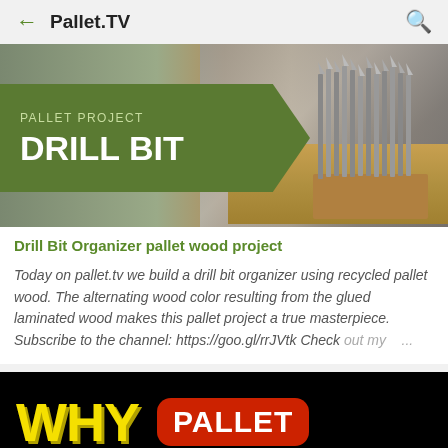← Pallet.TV 🔍
[Figure (photo): Thumbnail image showing drill bits arranged in a wooden pallet holder, with a green banner overlay reading 'PALLET PROJECT DRILL BIT']
Drill Bit Organizer pallet wood project
Today on pallet.tv we build a drill bit organizer using recycled pallet wood. The alternating wood color resulting from the glued laminated wood makes this pallet project a true masterpiece. Subscribe to the channel: https://goo.gl/rrJVtk Check out my ...
[Figure (screenshot): Dark thumbnail image with large yellow text 'WHY' and a red badge with white text 'PALLET']